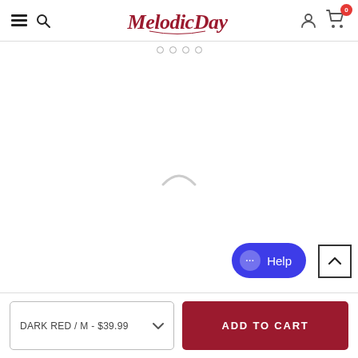MelodicDay — navigation header with hamburger menu, search, logo, user icon, cart (0)
[Figure (screenshot): Loading spinner arc in center of white product image area]
Help
DARK RED / M - $39.99
ADD TO CART